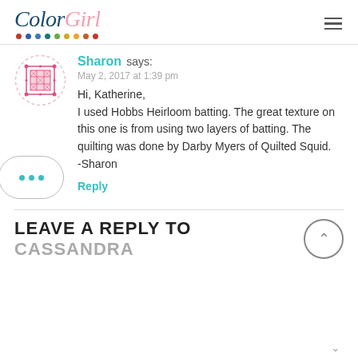ColorGirl [logo with decorative dots]
[Figure (illustration): Circular avatar with pink quilted pattern on white background]
Sharon says:
May 2, 2017 at 1:39 pm

Hi, Katherine,
I used Hobbs Heirloom batting. The great texture on this one is from using two layers of batting. The quilting was done by Darby Myers of Quilted Squid.
-Sharon
Reply
LEAVE A REPLY TO CASSANDRA